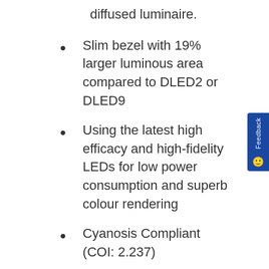diffused luminaire.
Slim bezel with 19% larger luminous area compared to DLED2 or DLED9
Using the latest high efficacy and high-fidelity LEDs for low power consumption and superb colour rendering
Cyanosis Compliant (COI: 2.237)
High colour consistency - under 3 macadam steps, ideal for general